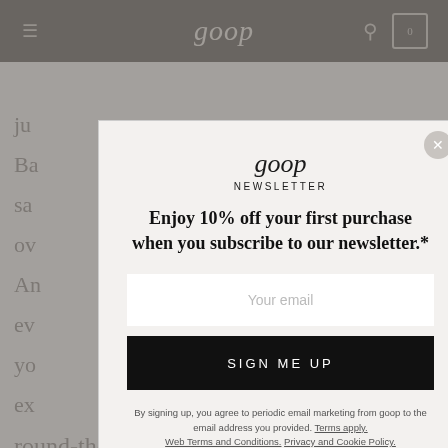goop
[Figure (screenshot): goop website newsletter signup modal overlay on a webpage background. The modal contains the goop logo, 'NEWSLETTER' subtitle, headline 'Enjoy 10% off your first purchase when you subscribe to our newsletter.*', an email input field, a 'SIGN ME UP' button, and legal fine print about email marketing terms. Behind the modal is the goop navigation bar and dimmed article text.]
goop
NEWSLETTER
Enjoy 10% off your first purchase when you subscribe to our newsletter.*
Your email
SIGN ME UP
By signing up, you agree to periodic email marketing from goop to the email address you provided. Terms apply. Web Terms and Conditions. Privacy and Cookie Policy.